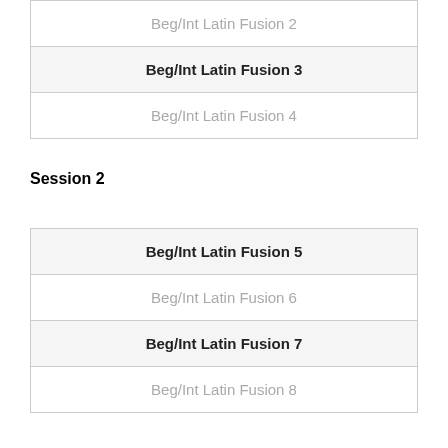| Beg/Int Latin Fusion 2 |
| Beg/Int Latin Fusion 3 |
| Beg/Int Latin Fusion 4 |
Session 2
| Beg/Int Latin Fusion 5 |
| Beg/Int Latin Fusion 6 |
| Beg/Int Latin Fusion 7 |
| Beg/Int Latin Fusion 8 |